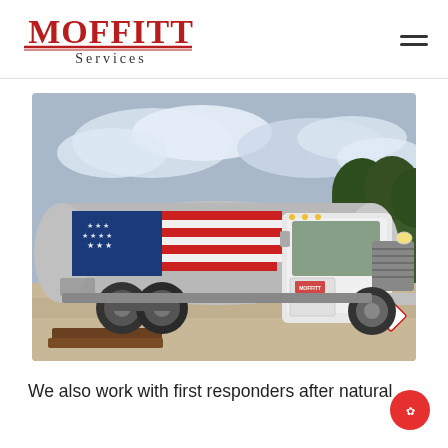[Figure (logo): Moffitt Services logo in red serif font with decorative underline]
[Figure (photo): Moffitt Services fuel tanker truck with American flag wrap on tank, white cab, parked on dirt/gravel lot with trees and cloudy sky in background]
We also work with first responders after natural